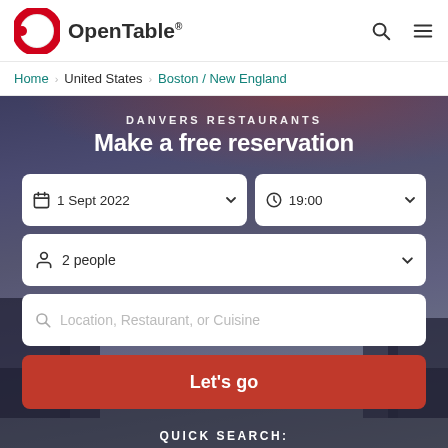OpenTable®
Home › United States › Boston / New England
DANVERS RESTAURANTS
Make a free reservation
1 Sept 2022  ▾  |  19:00  ▾
2 people  ▾
Location, Restaurant, or Cuisine
Let's go
QUICK SEARCH: